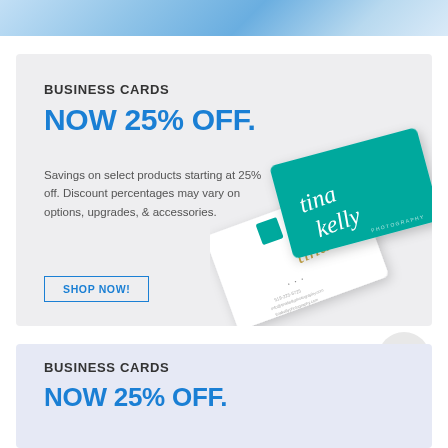[Figure (photo): Top strip showing a partial image of a person wearing light blue clothing, cropped at the top of the page]
[Figure (photo): Two Tina Kelly Photography business cards — one white with script lettering and teal logo, one solid teal with white script — displayed at an angle on a light gray promotional banner]
BUSINESS CARDS
NOW 25% OFF.
Savings on select products starting at 25% off. Discount percentages may vary on options, upgrades, & accessories.
SHOP NOW!
Top
BUSINESS CARDS
NOW 25% OFF.